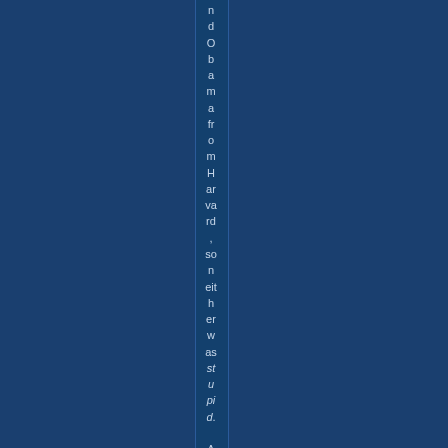nd Obama from Harvard, so neither was stupid. As to thi